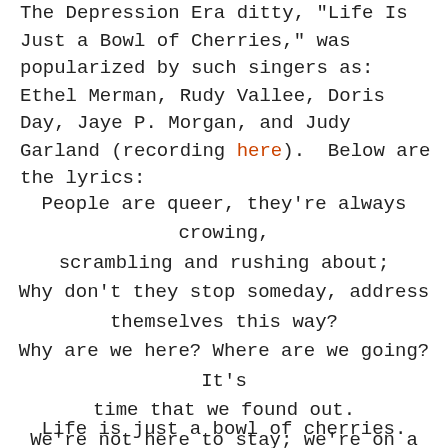The Depression Era ditty, "Life Is Just a Bowl of Cherries," was popularized by such singers as: Ethel Merman, Rudy Vallee, Doris Day, Jaye P. Morgan, and Judy Garland (recording here).  Below are the lyrics:
People are queer, they're always crowing, scrambling and rushing about; Why don't they stop someday, address themselves this way? Why are we here? Where are we going? It's time that we found out. We're not here to stay; we're on a short holiday.
Life is just a bowl of cherries.